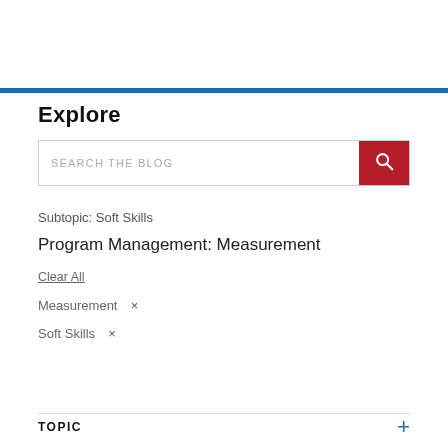Explore
[Figure (screenshot): Search bar with placeholder text 'SEARCH THE BLOG' and a red search button with magnifying glass icon]
Subtopic: Soft Skills
Program Management: Measurement
Clear All
Measurement  ×
Soft Skills  ×
TOPIC +